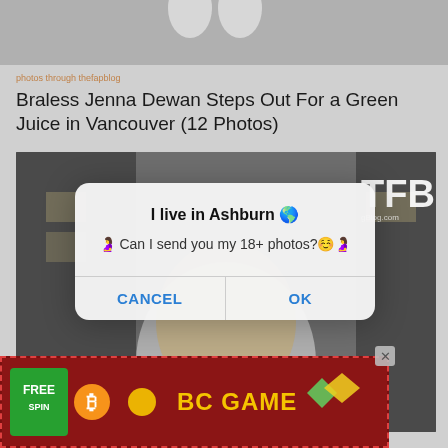[Figure (photo): Partial view of a person's lower legs and white shoes against a light background]
photos through thefapblog
Braless Jenna Dewan Steps Out For a Green Juice in Vancouver (12 Photos)
[Figure (photo): Photo of a woman with long blonde hair wearing a white blazer, with TFB watermark, overlaid by a dialog box saying 'I live in Ashburn' asking to send 18+ photos with CANCEL and OK buttons]
[Figure (screenshot): BC GAME casino advertisement with FREE SPIN text and Bitcoin logo, dashed red border, close button]